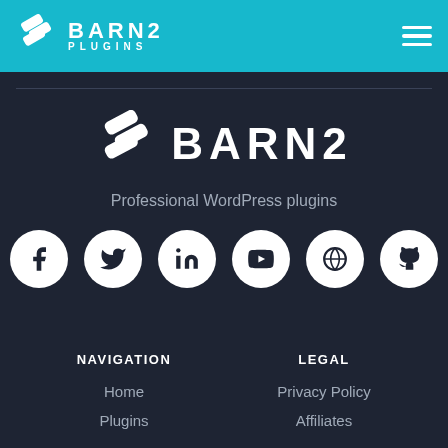BARN2 PLUGINS
[Figure (logo): Barn2 Plugins logo with icon and text BARN2 / Professional WordPress plugins, plus social media icons: Facebook, Twitter, LinkedIn, YouTube, WordPress, GitHub]
NAVIGATION
LEGAL
Home
Privacy Policy
Plugins
Affiliates